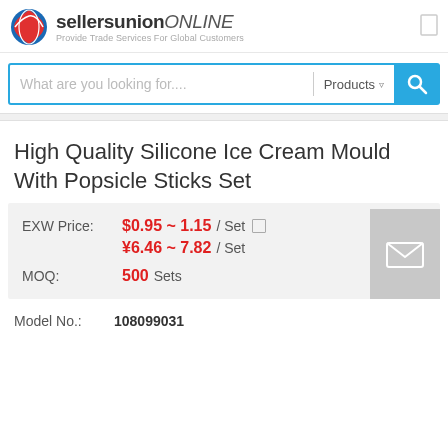[Figure (logo): Sellersunion Online logo with globe icon and tagline 'Provide Trade Services For Global Customers']
What are you looking for....
Products
High Quality Silicone Ice Cream Mould With Popsicle Sticks Set
EXW Price: $0.95 ~ 1.15 / Set
¥6.46 ~ 7.82 / Set
MOQ: 500 Sets
Model No.: 108099031